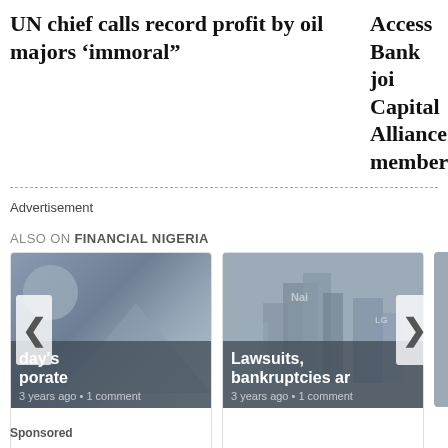UN chief calls record profit by oil majors ‘immoral”
Access Bank joins Capital Alliance member
Advertisement
ALSO ON FINANCIAL NIGERIA
[Figure (screenshot): Carousel card 1: abstract grey image with circle and triangle shapes, overlay text showing '...day's ...porate' and metadata '...ago • 1 comment']
[Figure (photo): Carousel card 2: photo of city buildings under grey cloudy sky, overlay text 'Lawsuits, bankruptcies ar...' and metadata '3 years ago • 1 comment']
Sponsored